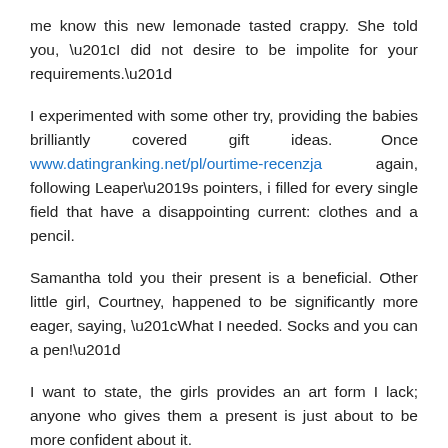me know this new lemonade tasted crappy. She told you, “I did not desire to be impolite for your requirements.”
I experimented with some other try, providing the babies brilliantly covered gift ideas. Once www.datingranking.net/pl/ourtime-recenzja again, following Leaper’s pointers, i filled for every single field that have a disappointing current: clothes and a pencil.
Samantha told you their present is a beneficial. Other little girl, Courtney, happened to be significantly more eager, saying, “What I needed. Socks and you can a pen!”
I want to state, the girls provides an art form I lack; anyone who gives them a present is just about to be more confident about it.
Brand new people weren’t planning to generate me personally feel good. “What?” Raja said, “socks and you